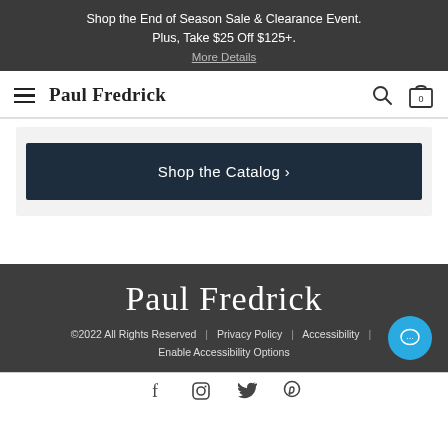Shop the End of Season Sale & Clearance Event. Plus, Take $25 Off $125+. More Details
Paul Fredrick
Shop the Catalog ›
Paul Fredrick
©2022 All Rights Reserved | Privacy Policy | Accessibility | Enable Accessibility Options